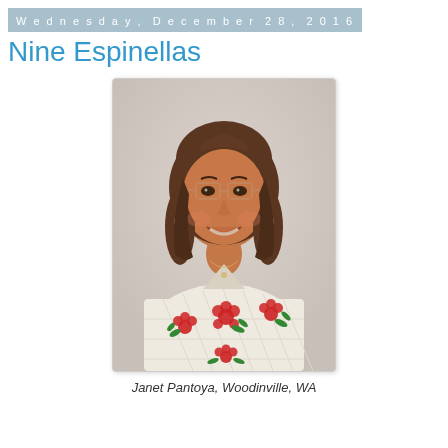Wednesday, December 28, 2016
Nine Espinellas
[Figure (photo): Portrait photo of a smiling middle-aged woman with shoulder-length brown hair, wearing glasses and a cream-colored sweater with red floral (poinsettia) and green leaf embroidery in a diamond pattern. She is wearing small earrings and a delicate necklace.]
Janet Pantoya, Woodinville, WA